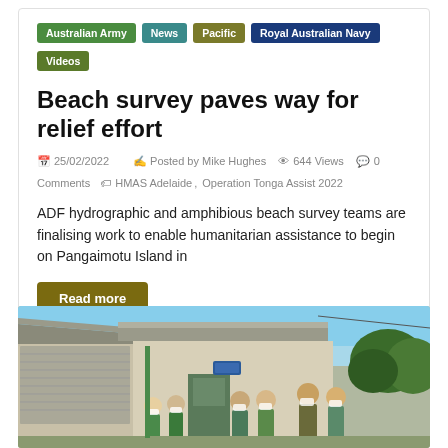Australian Army
News
Pacific
Royal Australian Navy
Videos
Beach survey paves way for relief effort
25/02/2022   Posted by Mike Hughes   644 Views   0 Comments   HMAS Adelaide, Operation Tonga Assist 2022
ADF hydrographic and amphibious beach survey teams are finalising work to enable humanitarian assistance to begin on Pangaimotu Island in
Read more
[Figure (photo): Outdoor photo showing a building with an overhanging roof and a group of people wearing masks standing in front of it, surrounded by green vegetation.]